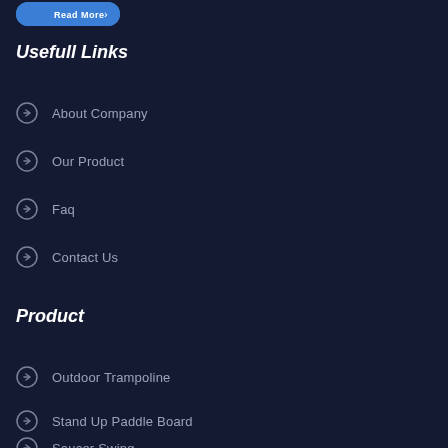[Figure (other): Blue rounded button with text 'Read More' and arrow icon]
Usefull Links
About Company
Our Product
Faq
Contact Us
Product
Outdoor Trampoline
Stand Up Paddle Board
Saucer Swing